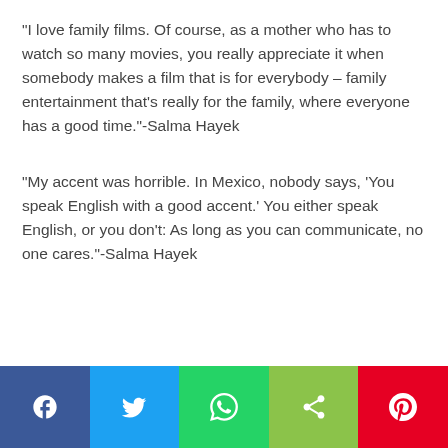“I love family films. Of course, as a mother who has to watch so many movies, you really appreciate it when somebody makes a film that is for everybody – family entertainment that’s really for the family, where everyone has a good time.”-Salma Hayek
“My accent was horrible. In Mexico, nobody says, ‘You speak English with a good accent.’ You either speak English, or you don’t: As long as you can communicate, no one cares.”-Salma Hayek
[Figure (infographic): Social media share bar with five buttons: Facebook (blue), Twitter (light blue), WhatsApp (green), Share (light green), Pinterest (red)]